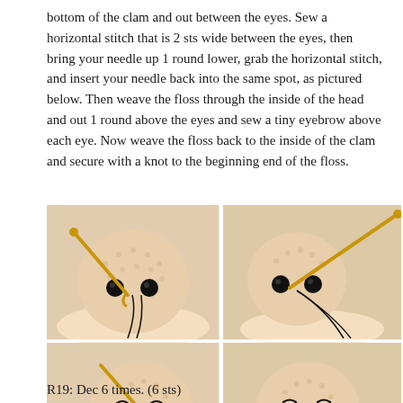bottom of the clam and out between the eyes. Sew a horizontal stitch that is 2 sts wide between the eyes, then bring your needle up 1 round lower, grab the horizontal stitch, and insert your needle back into the same spot, as pictured below. Then weave the floss through the inside of the head and out 1 round above the eyes and sew a tiny eyebrow above each eye. Now weave the floss back to the inside of the clam and secure with a knot to the beginning end of the floss.
[Figure (photo): Four-panel photo grid showing crochet amigurumi clam head with safety eyes and a golden crochet hook. Panels show steps of sewing eyebrows with black floss: top-left shows hook and needle at eye level, top-right shows needle pulling through with floss trailing, bottom-left shows eyebrow stitching in progress with floss loops, bottom-right shows completed tiny eyebrows on finished head.]
R19: Dec 6 times. (6 sts)